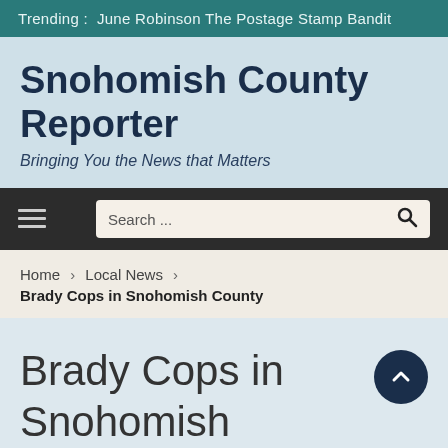Trending :  June Robinson The Postage Stamp Bandit
Snohomish County Reporter
Bringing You the News that Matters
Search ...
Home › Local News › Brady Cops in Snohomish County
Brady Cops in Snohomish County